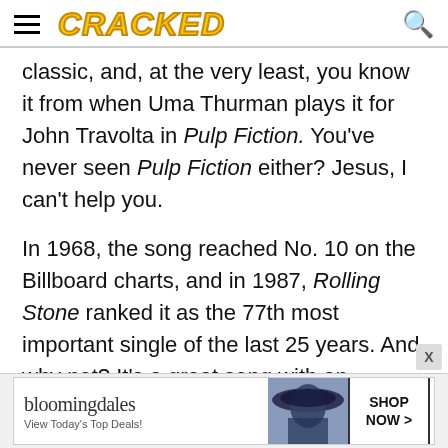CRACKED
classic, and, at the very least, you know it from when Uma Thurman plays it for John Travolta in Pulp Fiction. You've never seen Pulp Fiction either? Jesus, I can't help you.
In 1968, the song reached No. 10 on the Billboard charts, and in 1987, Rolling Stone ranked it as the 77th most important single of the last 25 years. And why not? It's a great song with an unforgettable soul vocal:
[Figure (other): Bloomingdale's advertisement banner with woman wearing wide-brim hat and SHOP NOW button]